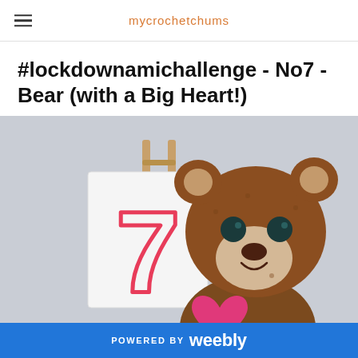mycrochetchums
#lockdownamichallenge - No7 - Bear (with a Big Heart!)
[Figure (photo): A crocheted teddy bear with brown yarn, cream muzzle, dark button eyes, and a pink/magenta heart held in its arms. Next to it is a white card with a large red outlined numeral 7 on an easel, against a light grey background.]
POWERED BY weebly